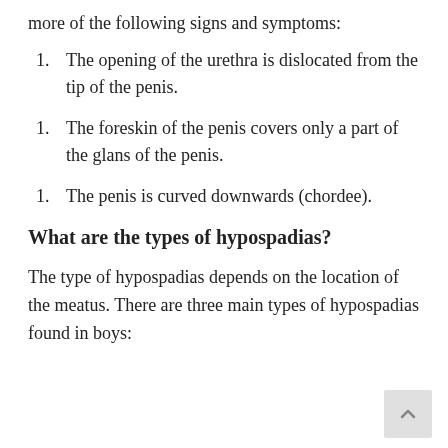more of the following signs and symptoms:
The opening of the urethra is dislocated from the tip of the penis.
The foreskin of the penis covers only a part of the glans of the penis.
The penis is curved downwards (chordee).
What are the types of hypospadias?
The type of hypospadias depends on the location of the meatus. There are three main types of hypospadias found in boys: